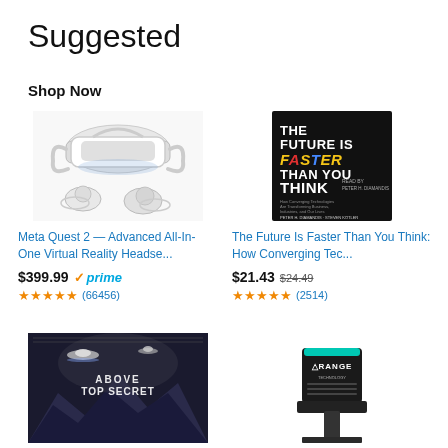Suggested
Shop Now
[Figure (photo): Meta Quest 2 VR headset with two controllers, white color, product photo on white background]
Meta Quest 2 — Advanced All-In-One Virtual Reality Headse...
$399.99 ✓prime (66456) ★★★★★
[Figure (photo): Book cover: The Future Is Faster Than You Think, black background with colorful text]
The Future Is Faster Than You Think: How Converging Tec...
$21.43 $24.49 (2514) ★★★★½
[Figure (photo): Book cover: Above Top Secret, dark mountain scene with UFOs]
[Figure (photo): Orange brand self-inking stamp device, black with teal accent light]